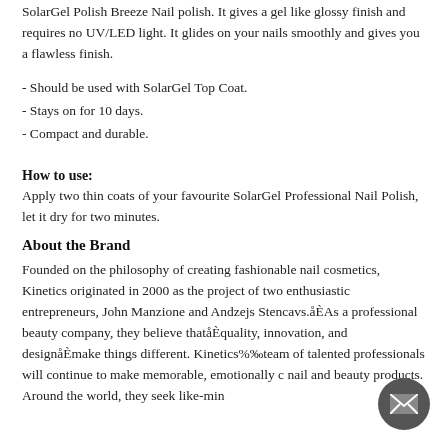SolarGel Polish Breeze Nail polish. It gives a gel like glossy finish and requires no UV/LED light. It glides on your nails smoothly and gives you a flawless finish.
- Should be used with SolarGel Top Coat.
- Stays on for 10 days.
- Compact and durable.
How to use:
Apply two thin coats of your favourite SolarGel Professional Nail Polish, let it dry for two minutes.
About the Brand
Founded on the philosophy of creating fashionable nail cosmetics, Kinetics originated in 2000 as the project of two enthusiastic entrepreneurs, John Manzione and Andzejs Stencavs.åÈAs a professional beauty company, they believe thatåÈquality, innovation, and designåÈmake things different. Kinetics%‰team of talented professionals will continue to make memorable, emotionally c nail and beauty products. Around the world, they seek like-min...